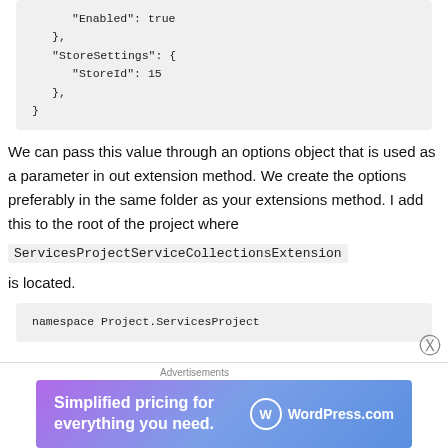"Enabled": true
    },
    "StoreSettings": {
        "StoreId": 15
    },
}
We can pass this value through an options object that is used as a parameter in out extension method. We create the options preferably in the same folder as your extensions method. I add this to the root of the project where
ServicesProjectServiceCollectionsExtension
is located.
namespace Project.ServicesProject
[Figure (other): WordPress.com advertisement banner: 'Simplified pricing for everything you need.']